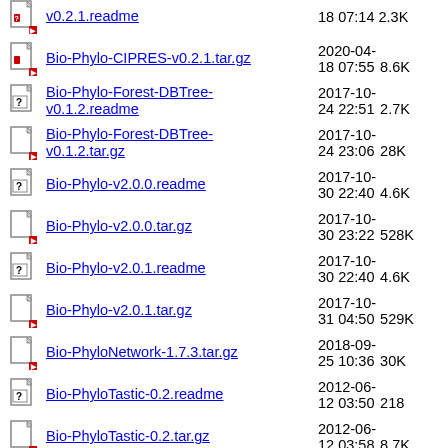v0.2.1.readme  18 07:14  2.3K
Bio-Phylo-CIPRES-v0.2.1.tar.gz  2020-04-18 07:55  8.6K
Bio-Phylo-Forest-DBTree-v0.1.2.readme  2017-10-24 22:51  2.7K
Bio-Phylo-Forest-DBTree-v0.1.2.tar.gz  2017-10-24 23:06  28K
Bio-Phylo-v2.0.0.readme  2017-10-30 22:40  4.6K
Bio-Phylo-v2.0.0.tar.gz  2017-10-30 23:22  528K
Bio-Phylo-v2.0.1.readme  2017-10-30 22:40  4.6K
Bio-Phylo-v2.0.1.tar.gz  2017-10-31 04:50  529K
Bio-PhyloNetwork-1.7.3.tar.gz  2018-09-25 10:36  30K
Bio-PhyloTastic-0.2.readme  2012-06-12 03:50  218
Bio-PhyloTastic-0.2.tar.gz  2012-06-12 03:58  8.7K
Bio-PhyloXS-v0.1.0.readme  2017-10-13 19:25  1.0K